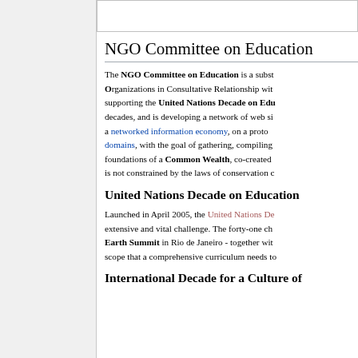NGO Committee on Education
The NGO Committee on Education is a subst... Organizations in Consultative Relationship with... supporting the United Nations Decade on Edu... decades, and is developing a network of web si... a networked information economy, on a proto... domains, with the goal of gathering, compiling... foundations of a Common Wealth, co-created... is not constrained by the laws of conservation c...
United Nations Decade on Education
Launched in April 2005, the United Nations De... extensive and vital challenge. The forty-one ch... Earth Summit in Rio de Janeiro - together wit... scope that a comprehensive curriculum needs to...
International Decade for a Culture of